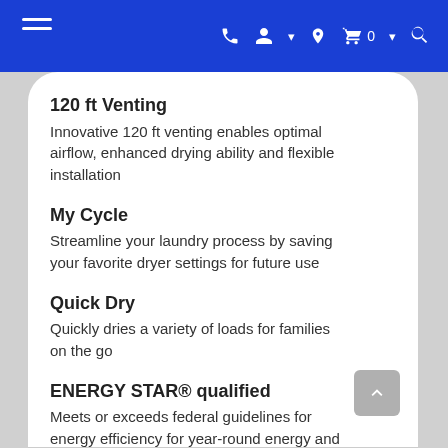Navigation header with hamburger menu and icons
120 ft Venting
Innovative 120 ft venting enables optimal airflow, enhanced drying ability and flexible installation
My Cycle
Streamline your laundry process by saving your favorite dryer settings for future use
Quick Dry
Quickly dries a variety of loads for families on the go
ENERGY STAR® qualified
Meets or exceeds federal guidelines for energy efficiency for year-round energy and money savings